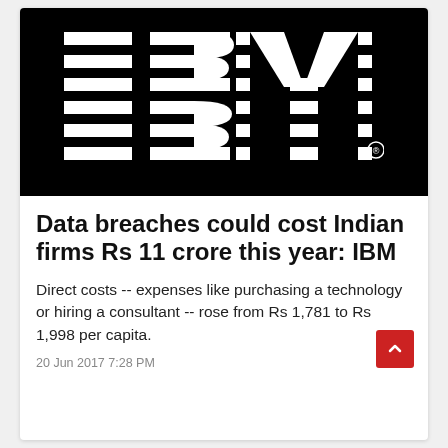[Figure (logo): IBM logo — white striped letters on black background]
Data breaches could cost Indian firms Rs 11 crore this year: IBM
Direct costs -- expenses like purchasing a technology or hiring a consultant -- rose from Rs 1,781 to Rs 1,998 per capita.
20 Jun 2017 7:28 PM